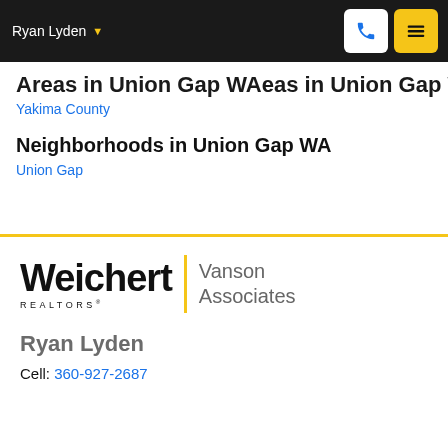Ryan Lyden
Areas in Union Gap WA
Yakima County
Neighborhoods in Union Gap WA
Union Gap
[Figure (logo): Weichert Realtors Vanson Associates logo]
Ryan Lyden
Cell: 360-927-2687